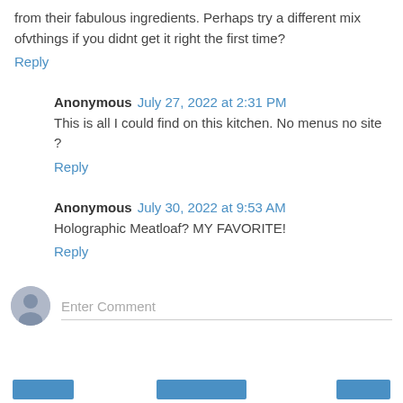from their fabulous ingredients. Perhaps try a different mix ofvthings if you didnt get it right the first time?
Reply
Anonymous July 27, 2022 at 2:31 PM
This is all I could find on this kitchen. No menus no site ?
Reply
Anonymous July 30, 2022 at 9:53 AM
Holographic Meatloaf? MY FAVORITE!
Reply
Enter Comment